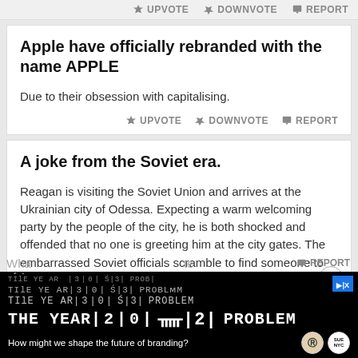UPVOTE  DOWNVOTE  REPORT
Apple have officially rebranded with the name APPLE
Due to their obsession with capitalising.
UPVOTE  DOWNVOTE  REPORT
A joke from the Soviet era.
Reagan is visiting the Soviet Union and arrives at the Ukrainian city of Odessa. Expecting a warm welcoming party by the people of the city, he is both shocked and offended that no one is greeting him at the city gates. The embarrassed Soviet officials scramble to find someone to fire the ceremonial…
read more
[Figure (other): Advertisement banner: THE YEAR 2025 PROBLEM branding advertisement with logos and tagline 'How might we shape the future of branding?']